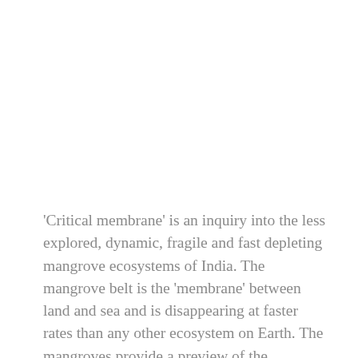'Critical membrane' is an inquiry into the less explored, dynamic, fragile and fast depleting mangrove ecosystems of India. The mangrove belt is the 'membrane' between land and sea and is disappearing at faster rates than any other ecosystem on Earth. The mangroves provide a preview of the challenges ahead for ecosystems and biodiversity hotspots across the planet. Documented extensively in degraded mangrove belts across India, these decaying ecosystems speak volumes about a living vicious cycle of